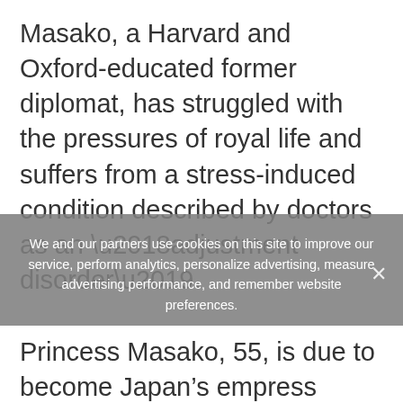Masako, a Harvard and Oxford-educated former diplomat, has struggled with the pressures of royal life and suffers from a stress-induced condition described by doctors as an ‘adjustment disorder’.
We and our partners use cookies on this site to improve our service, perform analytics, personalize advertising, measure advertising performance, and remember website preferences.
Princess Masako, 55, is due to become Japan’s empress consort in April when the current emperor